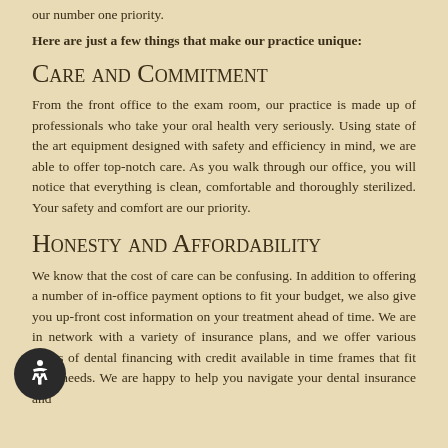our number one priority.
Here are just a few things that make our practice unique:
Care and Commitment
From the front office to the exam room, our practice is made up of professionals who take your oral health very seriously. Using state of the art equipment designed with safety and efficiency in mind, we are able to offer top-notch care. As you walk through our office, you will notice that everything is clean, comfortable and thoroughly sterilized. Your safety and comfort are our priority.
Honesty and Affordability
We know that the cost of care can be confusing. In addition to offering a number of in-office payment options to fit your budget, we also give you up-front cost information on your treatment ahead of time. We are in network with a variety of insurance plans, and we offer various forms of dental financing with credit available in time frames that fit your needs. We are happy to help you navigate your dental insurance and